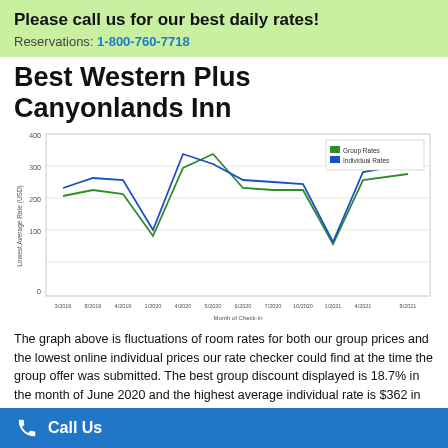Please call us for our best daily rates!
Reservations: 1-800-760-7718
Best Western Plus Canyonlands Inn
[Figure (line-chart): Lowest Average Rate (USD) by Month of Check-In]
The graph above is fluctuations of room rates for both our group prices and the lowest online individual prices our rate checker could find at the time the group offer was submitted. The best group discount displayed is 18.7% in the month of June 2020 and the highest average individual rate is $362 in the month of May 2022. This chart will show past seasonality
Call Us